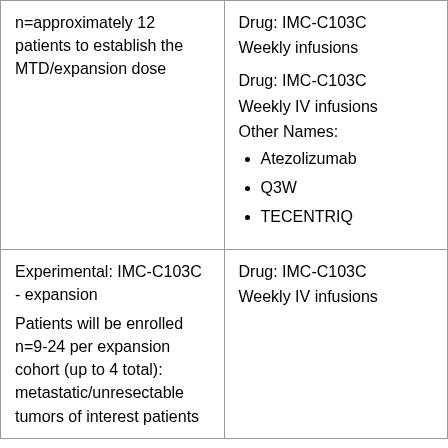| n=approximately 12 patients to establish the MTD/expansion dose | Drug: IMC-C103C
Weekly infusions

Drug: IMC-C103C
Weekly IV infusions
Other Names:
• Atezolizumab
• Q3W
• TECENTRIQ |
| Experimental: IMC-C103C - expansion
Patients will be enrolled n=9-24 per expansion cohort (up to 4 total): metastatic/unresectable tumors of interest patients | Drug: IMC-C103C
Weekly IV infusions |